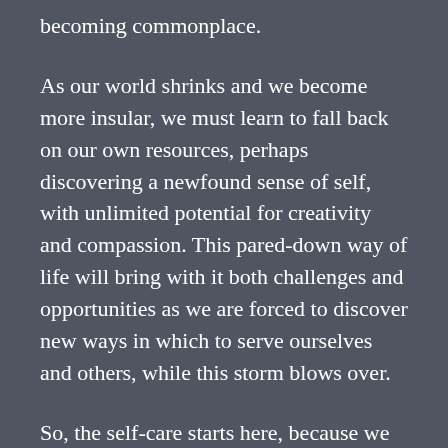becoming commonplace.
As our world shrinks and we become more insular, we must learn to fall back on our own resources, perhaps discovering a newfound sense of self, with unlimited potential for creativity and compassion. This pared-down way of life will bring with it both challenges and opportunities as we are forced to discover new ways in which to serve ourselves and others, while this storm blows over.
So, the self-care starts here, because we can't pour from an empty cup, and we're all reliant on each other to control the confinement and carry out our duties to those who are